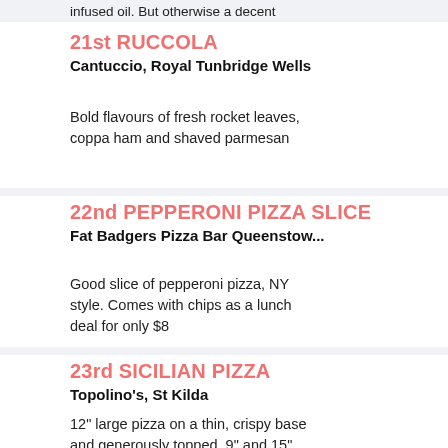infused oil. But otherwise a decent
21st RUCCOLA
Cantuccio, Royal Tunbridge Wells
Bold flavours of fresh rocket leaves, coppa ham and shaved parmesan
22nd PEPPERONI PIZZA SLICE
Fat Badgers Pizza Bar Queenstow...
Good slice of pepperoni pizza, NY style. Comes with chips as a lunch deal for only $8
23rd SICILIAN PIZZA
Topolino's, St Kilda
12" large pizza on a thin, crispy base and generously topped. 9" and 15" also available should you be